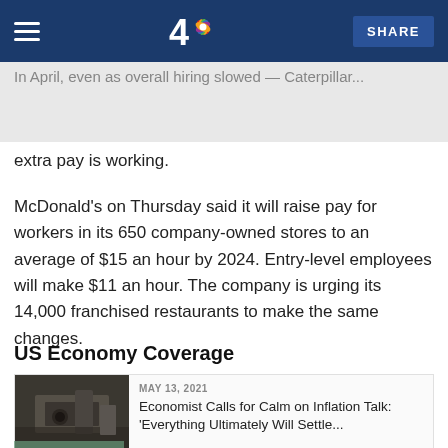NBC 4 — SHARE
In April, even as overall hiring slowed — Caterpillar...
extra pay is working.
McDonald's on Thursday said it will raise pay for workers in its 650 company-owned stores to an average of $15 an hour by 2024. Entry-level employees will make $11 an hour. The company is urging its 14,000 franchised restaurants to make the same changes.
US Economy Coverage
[Figure (photo): Photo of a worker in a factory/automotive setting]
MAY 13, 2021 — Economist Calls for Calm on Inflation Talk: 'Everything Ultimately Will Settle...